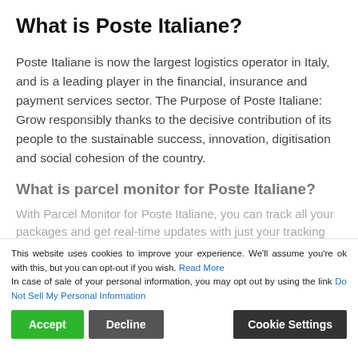What is Poste Italiane?
Poste Italiane is now the largest logistics operator in Italy, and is a leading player in the financial, insurance and payment services sector. The Purpose of Poste Italiane: Grow responsibly thanks to the decisive contribution of its people to the sustainable success, innovation, digitisation and social cohesion of the country.
What is parcel monitor for Poste Italiane?
With Parcel Monitor for Poste Italiane, you can track all your packages and get real-time updates with just your tracking number. Poste Italiane is a prominent carrier and its customers are thinking... Americans speak or read Italian. Please add a feature
This website uses cookies to improve your experience. We'll assume you're ok with this, but you can opt-out if you wish. Read More
In case of sale of your personal information, you may opt out by using the link Do Not Sell My Personal Information